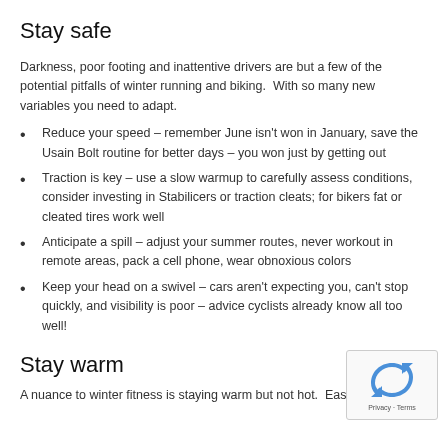Stay safe
Darkness, poor footing and inattentive drivers are but a few of the potential pitfalls of winter running and biking.  With so many new variables you need to adapt.
Reduce your speed – remember June isn't won in January, save the Usain Bolt routine for better days – you won just by getting out
Traction is key – use a slow warmup to carefully assess conditions, consider investing in Stabilicers or traction cleats; for bikers fat or cleated tires work well
Anticipate a spill – adjust your summer routes, never workout in remote areas, pack a cell phone, wear obnoxious colors
Keep your head on a swivel – cars aren't expecting you, can't stop quickly, and visibility is poor – advice cyclists already know all too well!
Stay warm
A nuance to winter fitness is staying warm but not hot.  Easily pooled